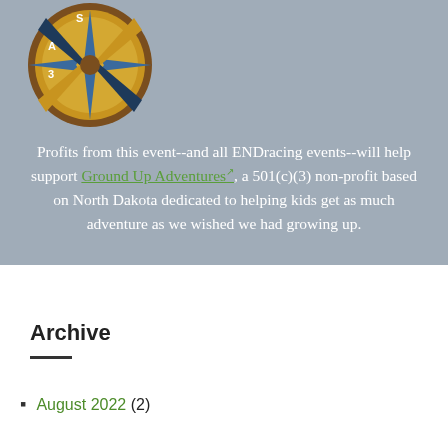[Figure (logo): Partial compass/wheel logo in brown, yellow, and blue tones, cropped at the top of the page]
Profits from this event--and all ENDracing events--will help support Ground Up Adventures, a 501(c)(3) non-profit based on North Dakota dedicated to helping kids get as much adventure as we wished we had growing up.
Archive
August 2022 (2)